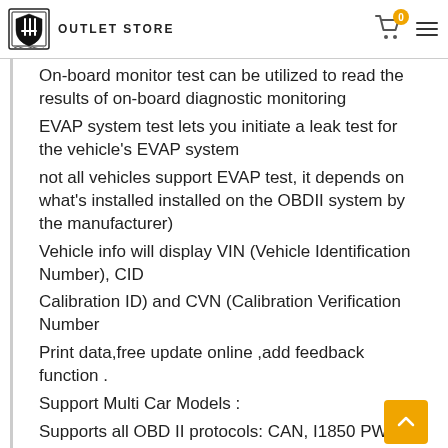OUTLET STORE
On-board monitor test can be utilized to read the results of on-board diagnostic monitoring
EVAP system test lets you initiate a leak test for the vehicle's EVAP system
not all vehicles support EVAP test, it depends on what's installed installed on the OBDII system by the manufacturer)
Vehicle info will display VIN (Vehicle Identification Number), CID
Calibration ID) and CVN (Calibration Verification Number
Print data,free update online ,add feedback function .
Support Multi Car Models :
Supports all OBD II protocols: CAN, I1850 PWM,